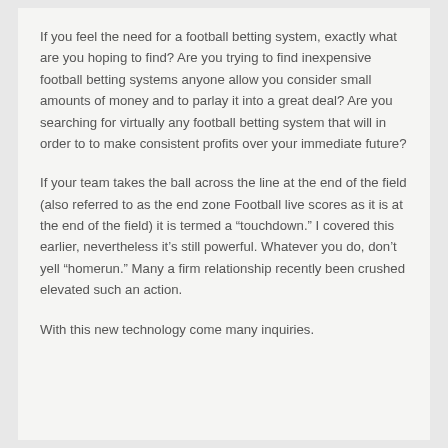If you feel the need for a football betting system, exactly what are you hoping to find? Are you trying to find inexpensive football betting systems anyone allow you consider small amounts of money and to parlay it into a great deal? Are you searching for virtually any football betting system that will in order to to make consistent profits over your immediate future?
If your team takes the ball across the line at the end of the field (also referred to as the end zone Football live scores as it is at the end of the field) it is termed a “touchdown.” I covered this earlier, nevertheless it’s still powerful. Whatever you do, don’t yell “homerun.” Many a firm relationship recently been crushed elevated such an action.
With this new technology come many inquiries.